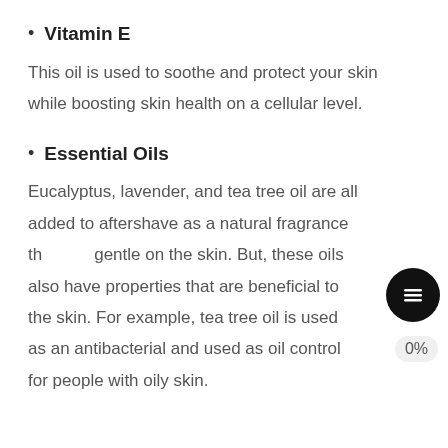Vitamin E
This oil is used to soothe and protect your skin while boosting skin health on a cellular level.
Essential Oils
Eucalyptus, lavender, and tea tree oil are all added to aftershave as a natural fragrance that is gentle on the skin. But, these oils also have properties that are beneficial to the skin. For example, tea tree oil is used as an antibacterial and used as oil control for people with oily skin.